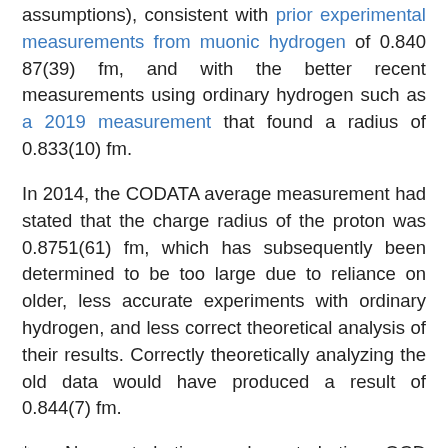assumptions), consistent with prior experimental measurements from muonic hydrogen of 0.84087(39) fm, and with the better recent measurements using ordinary hydrogen such as a 2019 measurement that found a radius of 0.833(10) fm.
In 2014, the CODATA average measurement had stated that the charge radius of the proton was 0.8751(61) fm, which has subsequently been determined to be too large due to reliance on older, less accurate experiments with ordinary hydrogen, and less correct theoretical analysis of their results. Correctly theoretically analyzing the old data would have produced a result of 0.844(7) fm.
* Non-perturbative and perturbative QCD models need to be used together to get more precise determinations of the QCD coupling constant. Perturbative QCD methods alone have hit their limits.